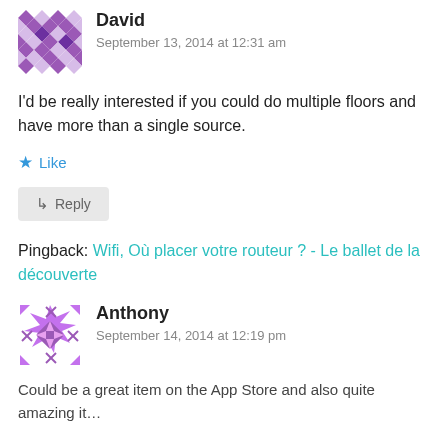[Figure (illustration): Purple geometric/mosaic avatar icon for user David]
David
September 13, 2014 at 12:31 am
I'd be really interested if you could do multiple floors and have more than a single source.
★ Like
↳ Reply
Pingback: Wifi, Où placer votre routeur ? - Le ballet de la découverte
[Figure (illustration): Purple/pink geometric avatar icon for user Anthony]
Anthony
September 14, 2014 at 12:19 pm
Could be a great item on the App Store and also quite amazing it...